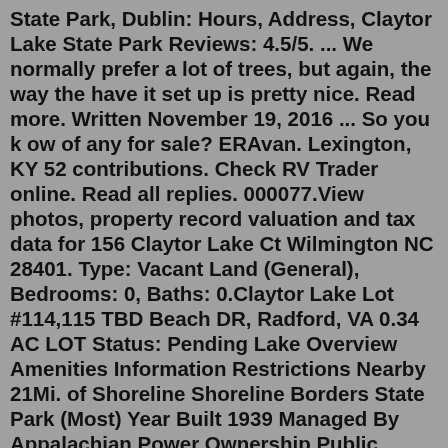State Park, Dublin: Hours, Address, Claytor Lake State Park Reviews: 4.5/5. ... We normally prefer a lot of trees, but again, the way the have it set up is pretty nice. Read more. Written November 19, 2016 ... So you k ow of any for sale? ERAvan. Lexington, KY 52 contributions. Check RV Trader online. Read all replies. 000077.View photos, property record valuation and tax data for 156 Claytor Lake Ct Wilmington NC 28401. Type: Vacant Land (General), Bedrooms: 0, Baths: 0.Claytor Lake Lot #114,115 TBD Beach DR, Radford, VA 0.34 AC LOT Status: Pending Lake Overview Amenities Information Restrictions Nearby 21Mi. of Shoreline Shoreline Borders State Park (Most) Year Built 1939 Managed By Appalachian Power Ownership Public Acreage 4,475 Public Boat Ramps 6 About Claytor Lake Pulaski County, VirginiaClaytor Lake Land For Sale Blackberry Lane. 00 per hour Deck-Building or Other Services: Call for Quote Annual Lease Only More information: 540-484-3980 For more information on our RV Sites, Please complete the following form and